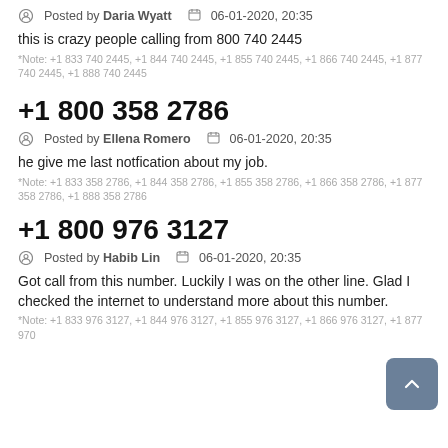Posted by Daria Wyatt   06-01-2020, 20:35
this is crazy people calling from 800 740 2445
*Note: +1 833 740 2445, +1 844 740 2445, +1 855 740 2445, +1 866 740 2445, +1 877 740 2445, +1 888 740 2445
+1 800 358 2786
Posted by Ellena Romero   06-01-2020, 20:35
he give me last notfication about my job.
*Note: +1 833 358 2786, +1 844 358 2786, +1 855 358 2786, +1 866 358 2786, +1 877 358 2786, +1 888 358 2786
+1 800 976 3127
Posted by Habib Lin   06-01-2020, 20:35
Got call from this number. Luckily I was on the other line. Glad I checked the internet to understand more about this number.
*Note: +1 833 976 3127, +1 844 976 3127, +1 855 976 3127, +1 866 976 3127, +1 877 970...